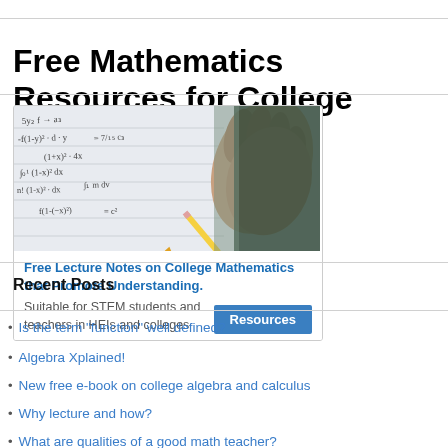Free Mathematics Resources for College STEM Students and Teachers
[Figure (photo): Photo of a hand holding a pencil writing mathematical equations on paper, with a dark background on the right side.]
Free Lecture Notes on College Mathematics that Promote Understanding.
Suitable for STEM students and teachers in HEIs and colleges
Recent Posts
Is the term “function” well defined?
Algebra Xplained!
New free e-book on college algebra and calculus
Why lecture and how?
What are qualities of a good math teacher?